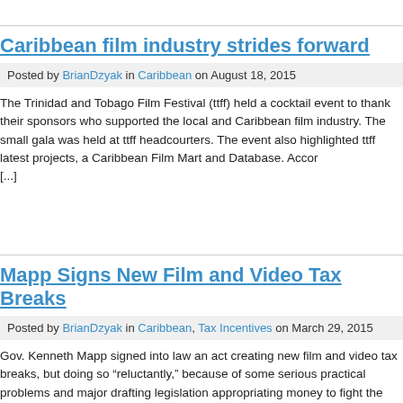Caribbean film industry strides forward
Posted by BrianDzyak in Caribbean on August 18, 2015
The Trinidad and Tobago Film Festival (ttff) held a cocktail event to thank their sponsors who supported the local and Caribbean film industry. The small gala was held at ttff headquarters. The event also highlighted ttff latest projects, a Caribbean Film Mart and Database. Accor [...]
Mapp Signs New Film and Video Tax Breaks
Posted by BrianDzyak in Caribbean, Tax Incentives on March 29, 2015
Gov. Kenneth Mapp signed into law an act creating new film and video tax breaks, but doing so "reluctantly," because of some serious practical problems and major drafting legislation appropriating money to fight the owners of the shuttered Hovensa refinery